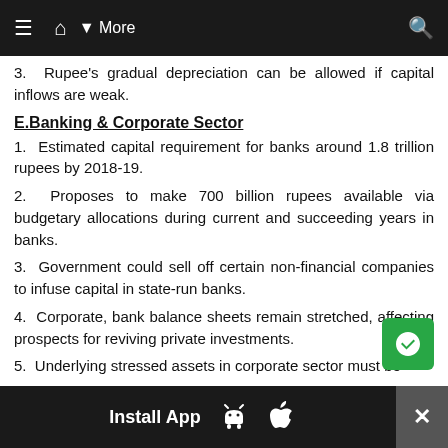≡  🏠  ▼ More    🔍
3.  Rupee's gradual depreciation can be allowed if capital inflows are weak.
E.Banking & Corporate Sector
1.  Estimated capital requirement for banks around 1.8 trillion rupees by 2018-19.
2.  Proposes to make 700 billion rupees available via budgetary allocations during current and succeeding years in banks.
3.  Government could sell off certain non-financial companies to infuse capital in state-run banks.
4.  Corporate, bank balance sheets remain stretched, affecting prospects for reviving private investments.
5.  Underlying stressed assets in corporate sector must be
Install App  [Android] [Apple]  ✕